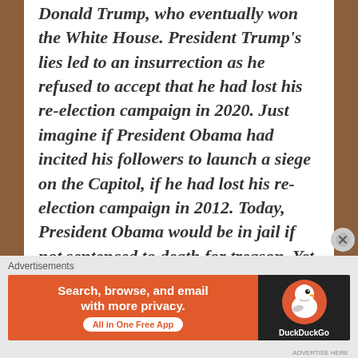Donald Trump, who eventually won the White House. President Trump's lies led to an insurrection as he refused to accept that he had lost his re-election campaign in 2020. Just imagine if President Obama had incited his followers to launch a siege on the Capitol, if he had lost his re-election campaign in 2012. Today, President Obama would be in jail if not sentenced to death for treason. Yet this bovine hateful White male, Donald Trump, whose flat skull in the back speaks to his
[Figure (other): DuckDuckGo advertisement banner: orange left panel with text 'Search, browse, and email with more privacy. All in One Free App' and dark right panel with DuckDuckGo duck logo]